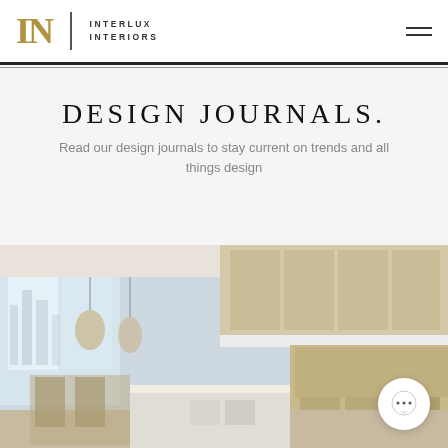INTERLUX INTERIORS
DESIGN JOURNALS.
Read our design journals to stay current on trends and all things design
[Figure (photo): Modern luxury open-plan kitchen and dining area with double-height ceilings, floor-to-ceiling windows overlooking a city skyline, light wood cabinetry, pendant lights, and a large island with white countertop.]